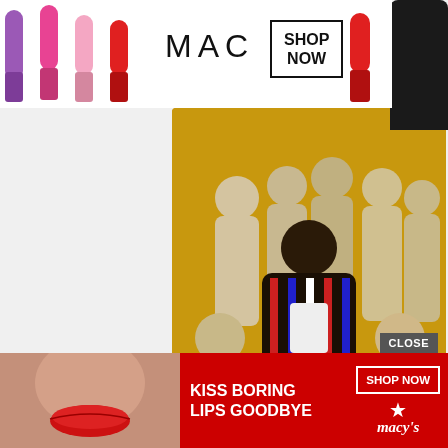[Figure (screenshot): MAC cosmetics advertisement banner with lipsticks, MAC logo, and SHOP NOW button]
[Figure (photo): Group photo of Thee Sacred Souls band members on golden/yellow background]
LISTEN: Thee Sacred Souls Share Rock-Steady Gold ...
Thee Sacred Souls continue the buildup to their highly anticipated self-titled debut album (out August 26 / Daptone)
glidemagazine.com
24m
[Figure (screenshot): Glide Magazine Twitter profile with @glidemag handle and partial tweet about Lee Fields]
Glide Magazine
@glidemag
Soul legend @LeeFields12 is officially part
[Figure (screenshot): Macy's advertisement: KISS BORING LIPS GOODBYE with SHOP NOW button and Macy's star logo]